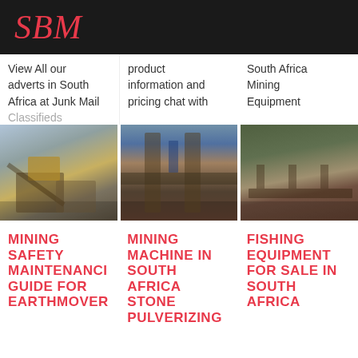SBM
View All our adverts in South Africa at Junk Mail Classifieds
product information and pricing chat with
South Africa Mining Equipment
[Figure (photo): Mining equipment / stone crusher at an outdoor site]
[Figure (photo): Mining machine under a bridge/structure with worker visible]
[Figure (photo): Mining equipment at a forested outdoor site]
MINING SAFETY MAINTENANCE GUIDE FOR EARTHMOVER
MINING MACHINE IN SOUTH AFRICA STONE PULVERIZING
FISHING EQUIPMENT FOR SALE IN SOUTH AFRICA